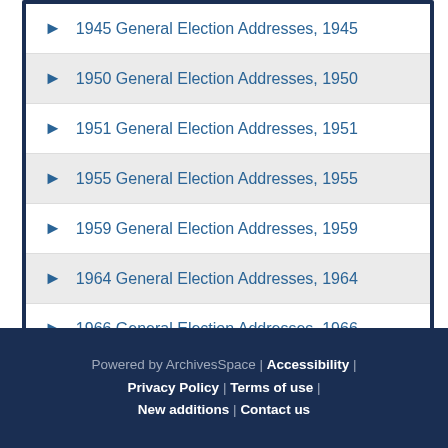1945 General Election Addresses, 1945
1950 General Election Addresses, 1950
1951 General Election Addresses, 1951
1955 General Election Addresses, 1955
1959 General Election Addresses, 1959
1964 General Election Addresses, 1964
1966 General Election Addresses, 1966
1970 General Election Addresses, 1970
Powered by ArchivesSpace | Accessibility | Privacy Policy | Terms of use | New additions | Contact us